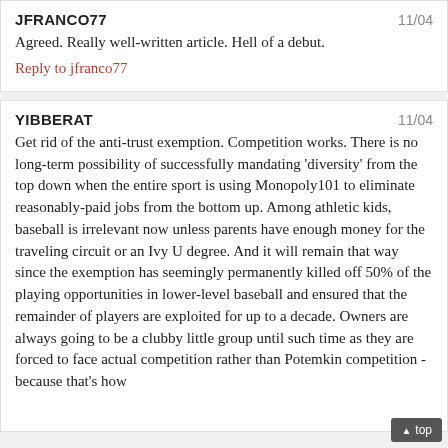JFRANCO77
11/04
Agreed. Really well-written article. Hell of a debut.
Reply to jfranco77
YIBBERAT
11/04
Get rid of the anti-trust exemption. Competition works. There is no long-term possibility of successfully mandating 'diversity' from the top down when the entire sport is using Monopoly101 to eliminate reasonably-paid jobs from the bottom up. Among athletic kids, baseball is irrelevant now unless parents have enough money for the traveling circuit or an Ivy U degree. And it will remain that way since the exemption has seemingly permanently killed off 50% of the playing opportunities in lower-level baseball and ensured that the remainder of players are exploited for up to a decade. Owners are always going to be a clubby little group until such time as they are forced to face actual competition rather than Potemkin competition - because that's how